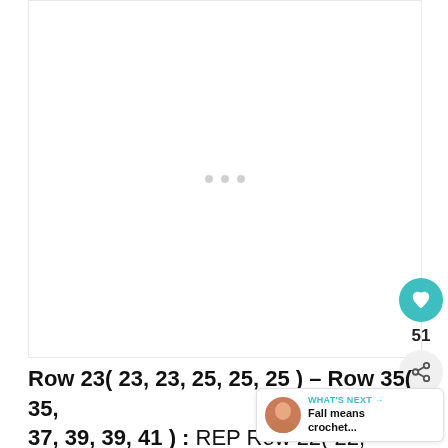[Figure (other): White image placeholder area with three small gray loading dots in the center]
Row 23( 23, 23, 25, 25, 25 ) – Row 35( 35, 37, 39, 39, 41 ) : REP Row 22( 22, 24, 24 )